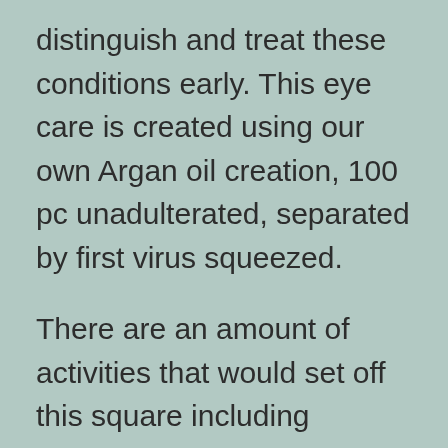distinguish and treat these conditions early. This eye care is created using our own Argan oil creation, 100 pc unadulterated, separated by first virus squeezed.

There are an amount of activities that would set off this square including presenting a definite word or expression, a SQL order or twisted information. Make a meeting with your eye doctor to check whether VUITY™ is best for you. Item HIGHLIGHTS Illuminates Firms Instantly diminishes the appearance of awesome strains and kinks Brightens dim pores and skin across the eyes The